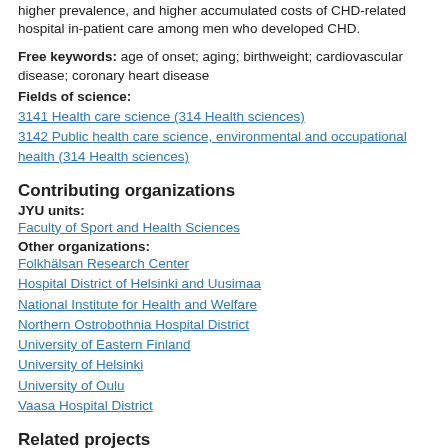higher prevalence, and higher accumulated costs of CHD-related hospital in-patient care among men who developed CHD.
Free keywords: age of onset; aging; birthweight; cardiovascular disease; coronary heart disease
Fields of science:
3141 Health care science (314 Health sciences)
3142 Public health care science, environmental and occupational health (314 Health sciences)
Contributing organizations
JYU units:
Faculty of Sport and Health Sciences
Other organizations:
Folkhälsan Research Center
Hospital District of Helsinki and Uusimaa
National Institute for Health and Welfare
Northern Ostrobothnia Hospital District
University of Eastern Finland
University of Helsinki
University of Oulu
Vaasa Hospital District
Related projects
Yrittäjien eläkeprosessi: suunnittelu, päätöksenteko, siirtyminen ja sopeutuminen eläkkeellä oloaikaan
von Bonsdorff, Monika
Academy of Finland